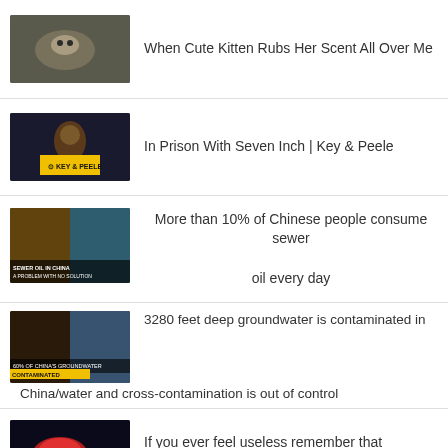[Figure (screenshot): Video thumbnail of a kitten]
When Cute Kitten Rubs Her Scent All Over Me
[Figure (screenshot): Video thumbnail Key & Peele - In Prison With Seven Inch]
In Prison With Seven Inch | Key & Peele
[Figure (screenshot): Video thumbnail about sewer oil in China]
More than 10% of Chinese people consume sewer oil every day
[Figure (screenshot): Video thumbnail about groundwater contamination in China]
3280 feet deep groundwater is contaminated in China/water and cross-contamination is out of control
[Figure (screenshot): Video thumbnail with red car-like object]
If you ever feel useless remember that someone